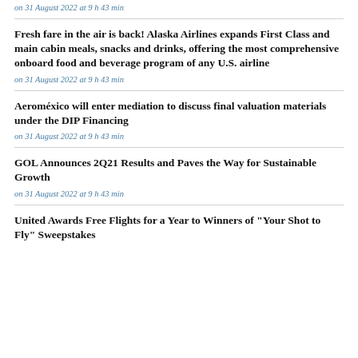on 31 August 2022 at 9 h 43 min
Fresh fare in the air is back! Alaska Airlines expands First Class and main cabin meals, snacks and drinks, offering the most comprehensive onboard food and beverage program of any U.S. airline
on 31 August 2022 at 9 h 43 min
Aeroméxico will enter mediation to discuss final valuation materials under the DIP Financing
on 31 August 2022 at 9 h 43 min
GOL Announces 2Q21 Results and Paves the Way for Sustainable Growth
on 31 August 2022 at 9 h 43 min
United Awards Free Flights for a Year to Winners of "Your Shot to Fly" Sweepstakes